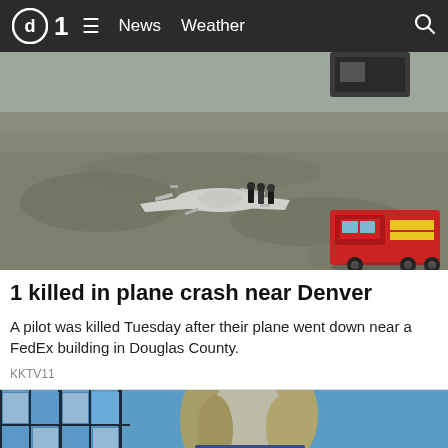d1  ≡  News  Weather  🔍
[Figure (photo): Aerial view of a small plane crash site in a grassy field near Denver. Wreckage of a white aircraft is visible with emergency responders and a fire truck on scene.]
1 killed in plane crash near Denver
A pilot was killed Tuesday after their plane went down near a FedEx building in Douglas County.
KKTV11
[Figure (photo): Partial view of a blonde woman in a studio setting with blue background panels visible.]